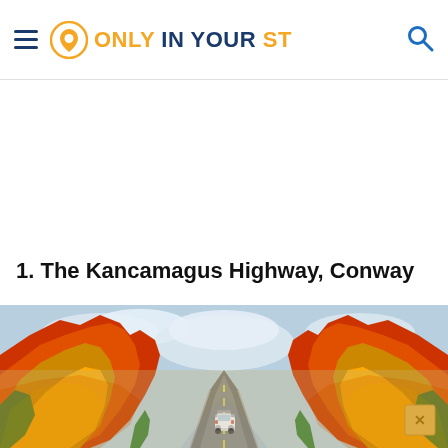ONLY IN YOUR ST
1. The Kancamagus Highway, Conway
[Figure (photo): Aerial highway view lined with brilliant autumn foliage in red, orange, yellow and green — the Kancamagus Highway in Conway, NH. A white car is visible driving away down the road, with blue sky above.]